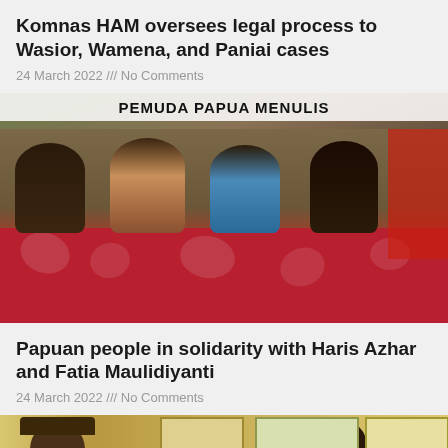Komnas HAM oversees legal process to Wasior, Wamena, and Paniai cases
24 March 2022 /// No Comments
[Figure (photo): Four men seated at a table covered with a red patterned tablecloth under a banner reading 'PEMUDA PAPUA MENULIS'. A red and white tent is visible in the background.]
Papuan people in solidarity with Haris Azhar and Fatia Maulidiyanti
24 March 2022 /// No Comments
[Figure (photo): Two men visible, one wearing a hat on the left, one on the right, in front of framed pictures or posters on a wall.]